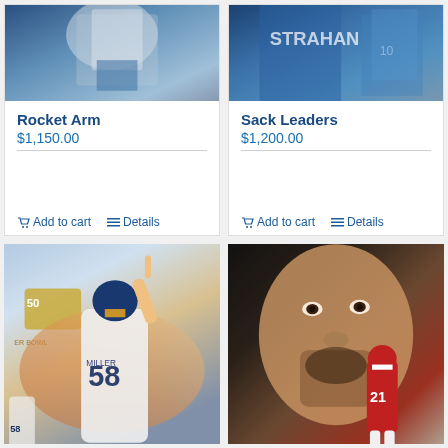[Figure (illustration): Sports artwork illustration of NFL player throwing - Rocket Arm painting]
Rocket Arm
$1,150.00
Add to cart   Details
[Figure (illustration): Sports artwork illustration of NFL players - Sack Leaders painting with Giants jersey]
Sack Leaders
$1,200.00
Add to cart   Details
[Figure (illustration): Sports artwork of Denver Broncos player #58 Von Miller pointing finger up, Super Bowl 50 backdrop]
[Figure (illustration): Sports artwork portrait of Arizona Cardinals player #21 Patrick Peterson in dark dramatic style]